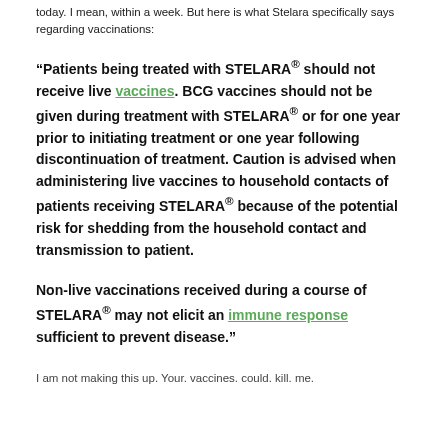today. I mean, within a week. But here is what Stelara specifically says regarding vaccinations:
“Patients being treated with STELARA® should not receive live vaccines. BCG vaccines should not be given during treatment with STELARA® or for one year prior to initiating treatment or one year following discontinuation of treatment. Caution is advised when administering live vaccines to household contacts of patients receiving STELARA® because of the potential risk for shedding from the household contact and transmission to patient. Non-live vaccinations received during a course of STELARA® may not elicit an immune response sufficient to prevent disease.”
I am not making this up. Your. vaccines. could. kill. me.